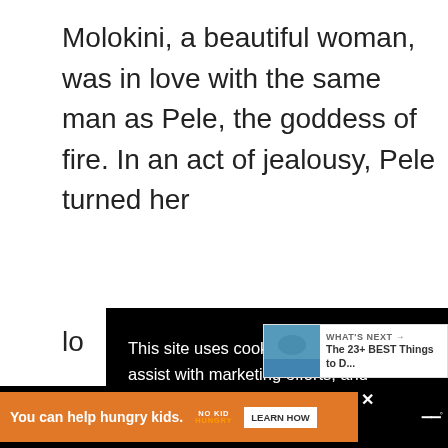Molokini, a beautiful woman, was in love with the same man as Pele, the goddess of fire. In an act of jealousy, Pele turned her lo… su… ne…
[Figure (screenshot): Cookie consent modal overlay on a dark background with text: 'This site uses cookies to analyze traffic, assist with marketing efforts, and provide third-party recommendations. We do not store any personal information. Learn more' with Decline and Accept buttons. Also shows heart icon, share count 87, share icon, and a 'WHAT'S NEXT' thumbnail banner.]
[Figure (screenshot): Bottom ad bar with orange background showing 'You can help hungry kids.' with NO KID HUNGRY logo and LEARN HOW button, plus close X button and Merriam-Webster logo on black background.]